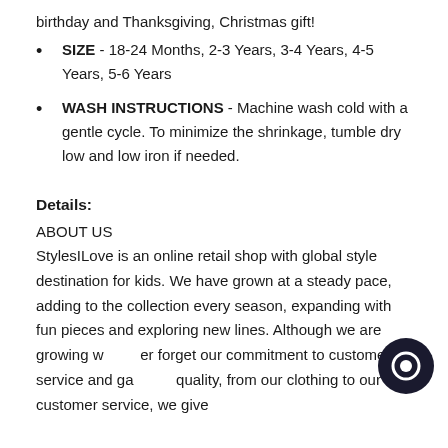birthday and Thanksgiving, Christmas gift!
SIZE - 18-24 Months, 2-3 Years, 3-4 Years, 4-5 Years, 5-6 Years
WASH INSTRUCTIONS - Machine wash cold with a gentle cycle. To minimize the shrinkage, tumble dry low and low iron if needed.
Details:
ABOUT US
StylesILove is an online retail shop with global style destination for kids. We have grown at a steady pace, adding to the collection every season, expanding with fun pieces and exploring new lines. Although we are growing we never forget our commitment to customer service and garment quality, from our clothing to our customer service, we give